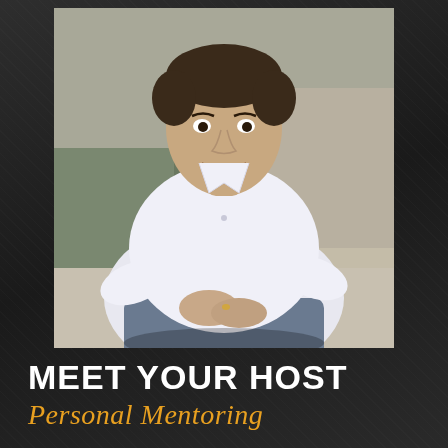[Figure (photo): Professional photo of a smiling man with short hair wearing a white button-up shirt and blue jeans, seated in a relaxed pose with hands clasped, against a blurred outdoor background]
MEET YOUR HOST
Personal Mentoring